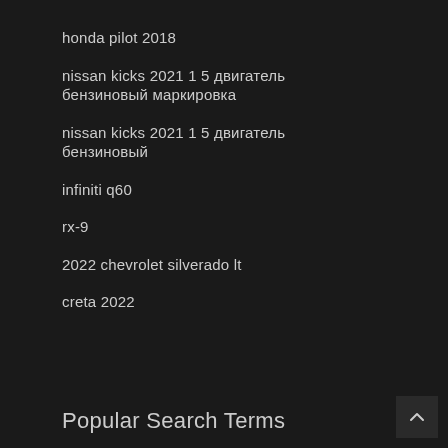honda pilot 2018
nissan kicks 2021 1 5 двигатель бензиновый маркировка
nissan kicks 2021 1 5 двигатель бензиновый
infiniti q60
rx-9
2022 chevrolet silverado lt
creta 2022
Popular Search Terms